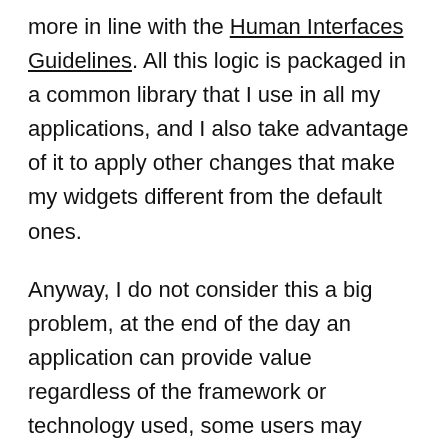more in line with the Human Interfaces Guidelines. All this logic is packaged in a common library that I use in all my applications, and I also take advantage of it to apply other changes that make my widgets different from the default ones.
Anyway, I do not consider this a big problem, at the end of the day an application can provide value regardless of the framework or technology used, some users may notice that your application is not native and do not like it, but many others will value more the value it provides than this detail.